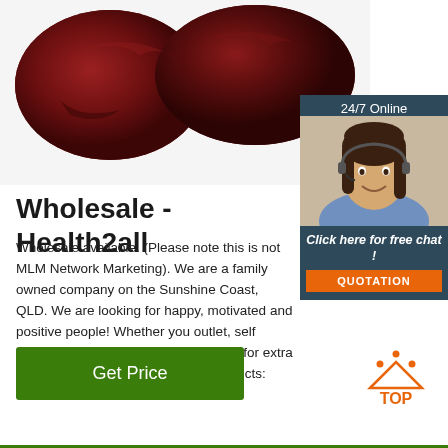[Figure (photo): Raw meat/liver product on white background - dark reddish-brown organ meat]
[Figure (infographic): 24/7 Online chat widget with female customer service agent wearing headset, 'Click here for free chat!' text, and orange QUOTATION button]
Wholesale - Health2all
Wholesale available. (Please note this is not MLM Network Marketing). We are a family owned company on the Sunshine Coast, QLD. We are looking for happy, motivated and positive people! Whether you outlet, self employed, semi retired or just looking for extra income. Promote our Health2all Products:
[Figure (infographic): Green 'Get Price' button]
[Figure (logo): Orange TOP badge with dots above text]